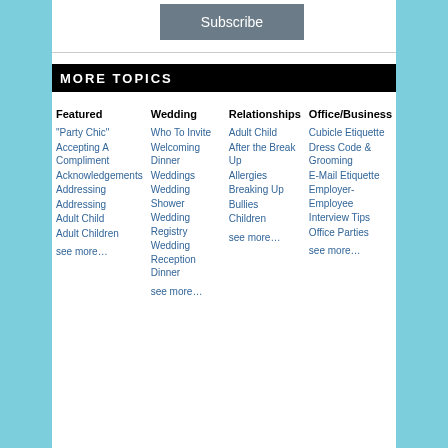[Figure (other): Subscribe button (gray rounded rectangle with white text)]
MORE TOPICS
Featured
"Party Chic"
Accepting A Compliment
Acknowledgements
Addressing
Addressing
Adult Child
Adult Children
see more…
Wedding
Who To Invite
Welcoming Dinner
Weddings
Wedding Shower
Wedding Registry
Wedding Reception Dinner
see more…
Relationships
Adult Child
After the Break Up
Allergies
Breaking Up
Bullies
Children
see more…
Office/Business
Cubicle Etiquette
Dress Code & Grooming
E-Mail Etiquette
Employer-Employee
Interview Tips
Office Parties
see more…